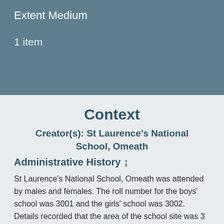Extent Medium
1 item
Context
Creator(s): St Laurence's National School, Omeath
Administrative History ↨
St Laurence's National School, Omeath was attended by males and females. The roll number for the boys' school was 3001 and the girls' school was 3002. Details recorded that the area of the school site was 3 Irish acres